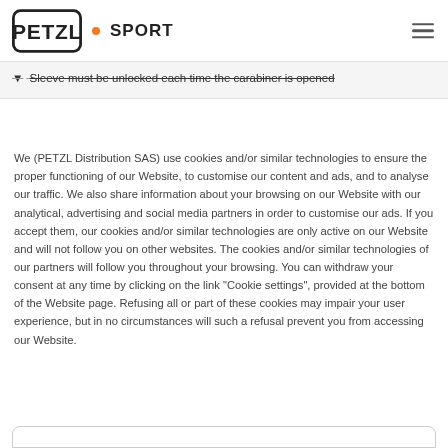PETZL • SPORT
Sleeve must be unlocked each time the carabiner is opened
We (PETZL Distribution SAS) use cookies and/or similar technologies to ensure the proper functioning of our Website, to customise our content and ads, and to analyse our traffic. We also share information about your browsing on our Website with our analytical, advertising and social media partners in order to customise our ads. If you accept them, our cookies and/or similar technologies are only active on our Website and will not follow you on other websites. The cookies and/or similar technologies of our partners will follow you throughout your browsing. You can withdraw your consent at any time by clicking on the link "Cookie settings", provided at the bottom of the Website page. Refusing all or part of these cookies may impair your user experience, but in no circumstances will such a refusal prevent you from accessing our Website.